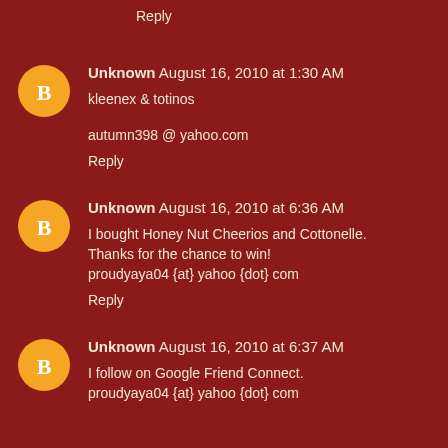Reply
Unknown  August 16, 2010 at 1:30 AM
kleenex & totinos
autumn398 @ yahoo.com
Reply
Unknown  August 16, 2010 at 6:36 AM
I bought Honey Nut Cheerios and Cottonelle. Thanks for the chance to win! proudyaya04 {at} yahoo {dot} com
Reply
Unknown  August 16, 2010 at 6:37 AM
I follow on Google Friend Connect. proudyaya04 {at} yahoo {dot} com